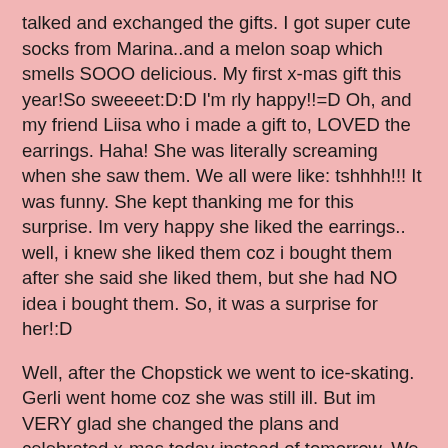talked and exchanged the gifts. I got super cute socks from Marina..and a melon soap which smells SOOO delicious. My first x-mas gift this year!So sweeeet:D:D I'm rly happy!!=D Oh, and my friend Liisa who i made a gift to, LOVED the earrings. Haha! She was literally screaming when she saw them. We all were like: tshhhh!!! It was funny. She kept thanking me for this surprise. Im very happy she liked the earrings.. well, i knew she liked them coz i bought them after she said she liked them, but she had NO idea i bought them. So, it was a surprise for her!:D
Well, after the Chopstick we went to ice-skating. Gerli went home coz she was still ill. But im VERY glad she changed the plans and celebrated x-mas today instead of tomorrow. We were all together and fun!!!:D Anyway, as i said we went to ice-skate. It was hilarious. So funny and cute! I hadnt ice-skated since...since..since the summer when Sharon was here..it was the summer 2008 :P One and an half year ago. Wow! Long time. But actually i had never ice-skated outside..always in this big ice-skating hall. But today we went to ice-skate outside.There was x-mas music and it was so nice. And so cold. Freezing. -16C degrees. But guess what?